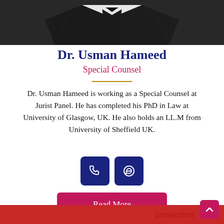[Figure (photo): Top portion showing a person in a dark suit with a tie, cropped at chest level]
Dr. Usman Hameed
Special Counsel
Dr. Usman Hameed is working as a Special Counsel at Jurist Panel. He has completed his PhD in Law at University of Glasgow, UK. He also holds an LL.M from University of Sheffield UK.
[Figure (infographic): Two dark navy square icon buttons: phone icon and WhatsApp/message icon]
Read More
[Figure (photo): Bottom red strip showing partial image of another person/slide]